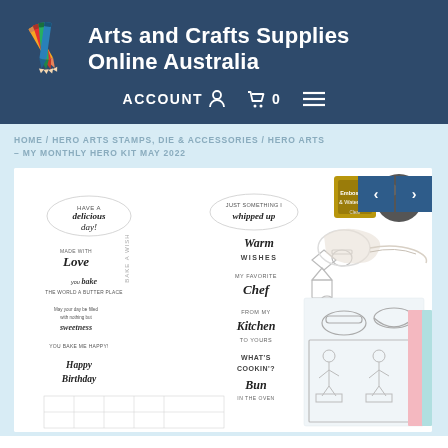[Figure (logo): Arts and Crafts Supplies Online Australia logo with colorful pencils icon and white text on dark blue background, including navigation bar with ACCOUNT, cart (0), and menu icons]
HOME / HERO ARTS STAMPS, DIE & ACCESSORIES / HERO ARTS – MY MONTHLY HERO KIT MAY 2022
[Figure (photo): Product photo showing Hero Arts My Monthly Hero Kit May 2022, featuring stamp sheets with kitchen/baking sentiments, metal dies, embossing pad, black ink pad, and twine on white background]